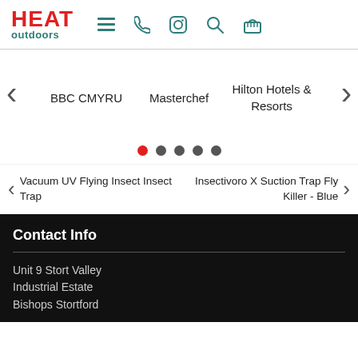HEAT outdoors — navigation header with menu, phone, instagram, search, basket icons
BBC CMYRU
Masterchef
Hilton Hotels & Resorts
[Figure (infographic): Carousel dot navigation: 5 dots, first dot is red (active), remaining 4 are dark grey]
Vacuum UV Flying Insect Insect Trap
Insectivoro X Suction Trap Fly Killer - Blue
Contact Info
Unit 9 Stort Valley Industrial Estate Bishops Stortford